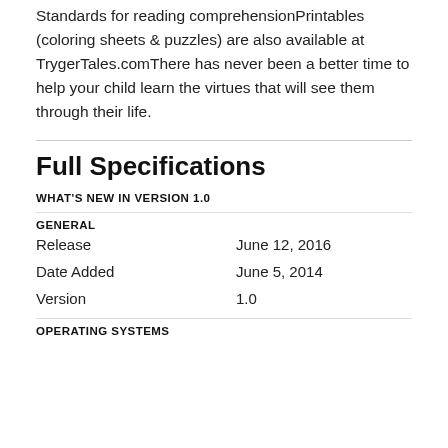Standards for reading comprehensionPrintables (coloring sheets & puzzles) are also available at TrygerTales.comThere has never been a better time to help your child learn the virtues that will see them through their life.
Full Specifications
WHAT'S NEW IN VERSION 1.0
GENERAL
|  |  |
| --- | --- |
| Release | June 12, 2016 |
| Date Added | June 5, 2014 |
| Version | 1.0 |
OPERATING SYSTEMS